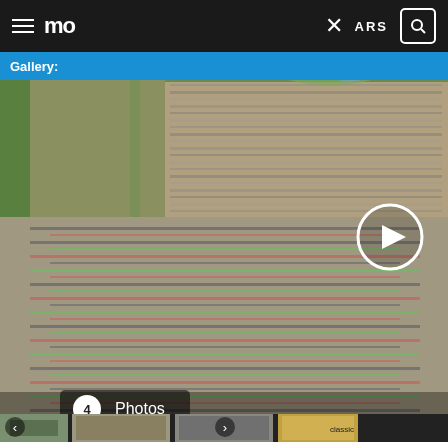mo  ARS
Gallery:
[Figure (photo): Aerial drone photograph of thousands of Ford cars arranged in rows at Ford's Lommel Proving Ground, viewed from above. A play button circle overlay is visible in the upper portion. A badge showing '4 Photos' appears in the lower left corner of the main image. Below the main image are four thumbnail images showing different views of the car arrangement and a yellow classic car.]
On September 7, Ford’s Lommel Proving Ground,